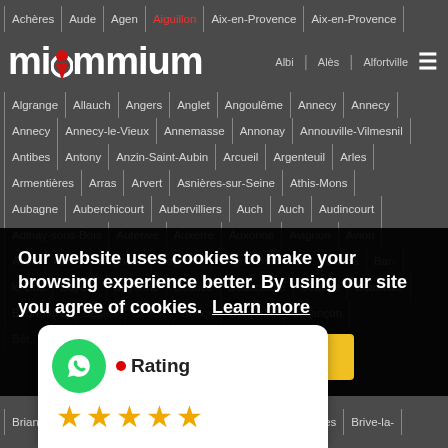Achères | Aude | Agen | Aiguillon | Aix-en-Provence | Aix-en-Provence | Albi | Alès | Alfortville | Algrange | Allauch | Angers | Anglet | Angoulême | Annecy | Annecy
[Figure (logo): miommium logo in white bold lowercase text with a red map pin replacing the 'o', and a hamburger menu icon on the right]
Annecy | Annecy-le-Vieux | Annemasse | Annonay | Annouville-Vilmesnil | Antibes | Antony | Anzin-Saint-Aubin | Arcueil | Argenteuil | Arles | Armentières | Arras | Arvert | Asnières-sur-Seine | Athis-Mons | Aubagne | Auberchicourt | Aubervilliers | Auch | Auch | Audincourt | Aulnay-sous-Bois | Auterive | Auxerre | Auxonne | Avignon | Avion | Avon | Avrilly | Bagneux | Bagnolet | Bagnols-sur-Ceze | Balma | Bar-le-Duc | Bayeux | Bayonne | Beaucé | Beaucouzé | Beaune | Beauvais | Bédarrides | Begles | Belfort | Benon | Bergerac | Besançon
Our website uses cookies to make your browsing experience better. By using our site you agree to our use of cookies.  Learn more
Yes
[Figure (infographic): Rating widget with WhatsApp green circle icon, red dot, 'Rating' label in bold, and 5 gold stars]
Briançon | Brie-Comte-Robert | Brié-et-Angonnes | Brignoles | Brive-la-